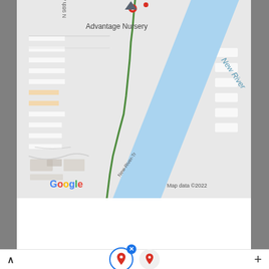[Figure (map): Google Maps screenshot showing Advantage Nursery near New River in Peoria, AZ. Shows street grid, blue river/canal labeled 'New River', green route line along 'New-River-Tr', and a location pin. Google logo and 'Map data ©2022' attribution visible.]
9715 W Peoria Ave, Peoria, AZ 85345, USA
Supplemental Information
[Figure (photo): Street-level photo showing trees and vegetation against a cloudy sky, likely from Google Street View.]
^ [location icon with blue circle and X badge] [location icon gray] +